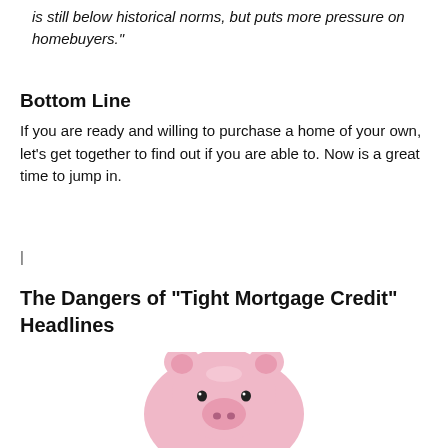is still below historical norms, but puts more pressure on homebuyers."
Bottom Line
If you are ready and willing to purchase a home of your own, let’s get together to find out if you are able to. Now is a great time to jump in.
|
The Dangers of “Tight Mortgage Credit” Headlines
[Figure (photo): A pink ceramic piggy bank photographed from the front, showing a round pig face with small black eyes and a pink snout, against a white background.]